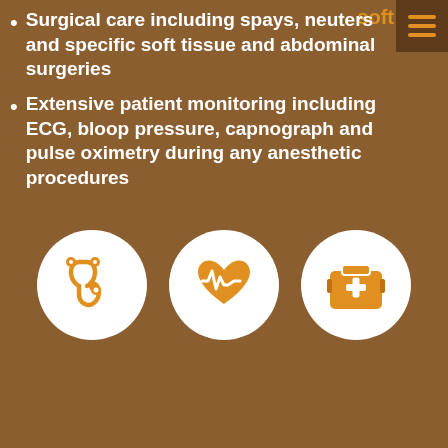Surgical care including spays, neuters and specific soft tissue and abdominal surgeries
Extensive patient monitoring including ECG, bloop pressure, capnograph and pulse oximetry during any anesthetic procedures
[Figure (illustration): Three circular white icons on brown background: stethoscope, heart monitor/ECG heart, and first aid kit/medical case, all in orange/amber color]